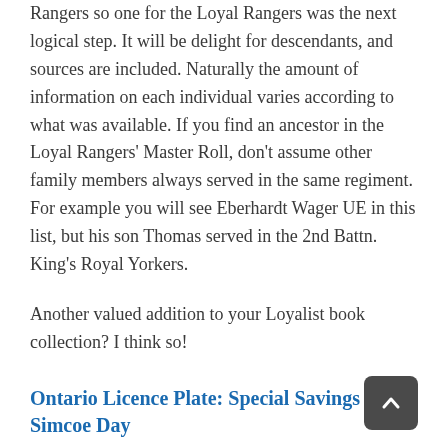Rangers so one for the Loyal Rangers was the next logical step. It will be delight for descendants, and sources are included. Naturally the amount of information on each individual varies according to what was available. If you find an ancestor in the Loyal Rangers' Master Roll, don't assume other family members always served in the same regiment. For example you will see Eberhardt Wager UE in this list, but his son Thomas served in the 2nd Battn. King's Royal Yorkers.
Another valued addition to your Loyalist book collection? I think so!
Ontario Licence Plate: Special Savings for Simcoe Day
How do you celebrate Ontario's 150th Anniversary as one of the four original members of Canada's Confederation in 1867? If you live in the Greater